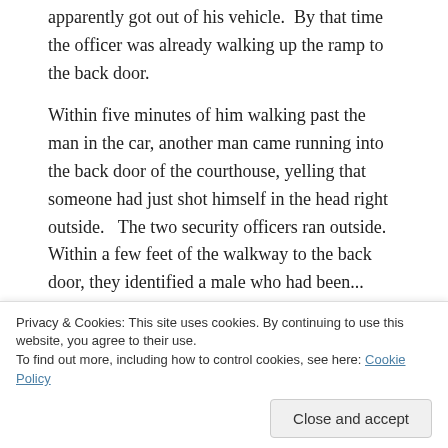apparently got out of his vehicle.  By that time the officer was already walking up the ramp to the back door.
Within five minutes of him walking past the man in the car, another man came running into the back door of the courthouse, yelling that someone had just shot himself in the head right outside.   The two security officers ran outside.  Within a few feet of the walkway to the back door, they identified a male who had been...
Privacy & Cookies: This site uses cookies. By continuing to use this website, you agree to their use.
To find out more, including how to control cookies, see here: Cookie Policy
Close and accept